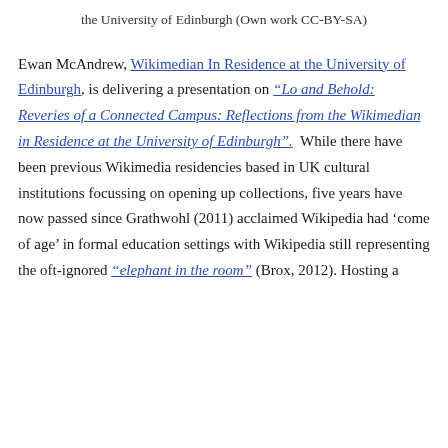the University of Edinburgh (Own work CC-BY-SA)
Ewan McAndrew, Wikimedian In Residence at the University of Edinburgh, is delivering a presentation on "Lo and Behold: Reveries of a Connected Campus: Reflections from the Wikimedian in Residence at the University of Edinburgh".  While there have been previous Wikimedia residencies based in UK cultural institutions focussing on opening up collections, five years have now passed since Grathwohl (2011) acclaimed Wikipedia had ‘come of age’ in formal education settings with Wikipedia still representing the oft-ignored “elephant in the room” (Brox, 2012). Hosting a